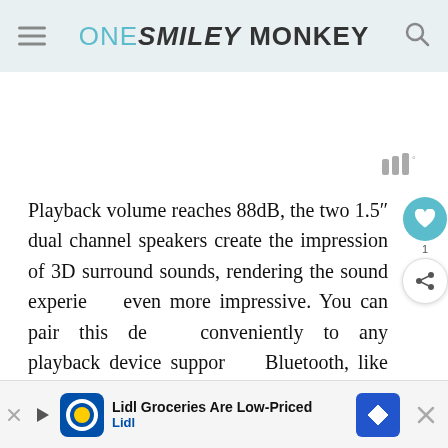ONE SMILEY MONKEY
Playback volume reaches 88dB, the two 1.5″ dual channel speakers create the impression of 3D surround sounds, rendering the sound experience even more impressive. You can pair this device conveniently to any playback device supporting Bluetooth, like iPhones, iPads, iPod Touch or other devices or ...